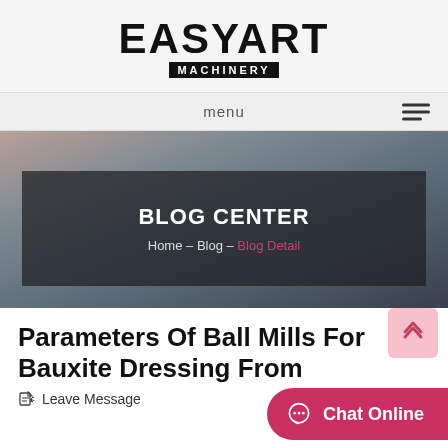[Figure (logo): EasyArt Machinery logo — large bold black text 'EASYART' with 'MACHINERY' in white on black banner underneath]
menu
[Figure (photo): Industrial machinery background photo — blurred factory/workshop equipment in blue-grey tones with dark overlay box showing 'BLOG CENTER' and breadcrumb 'Home – Blog – Blog Detail']
Parameters Of Ball Mills For Bauxite Dressing From
Leave Message
Chat Online